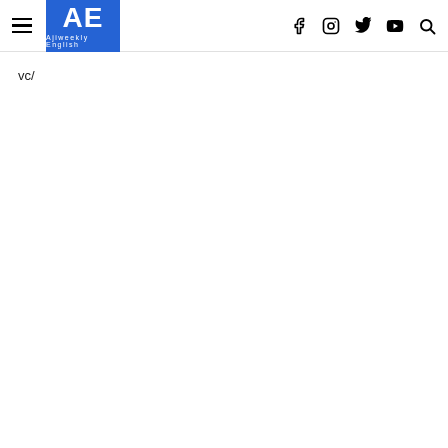Ajiweekly English — navigation header with logo, hamburger menu, and social icons
vc/